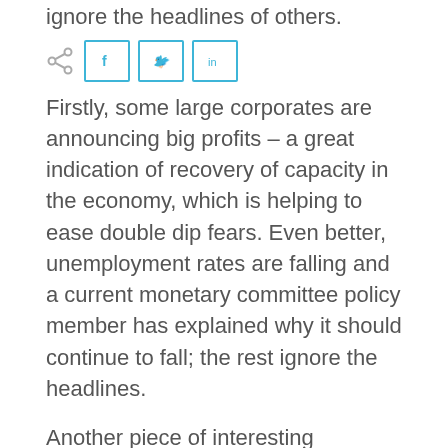ignore the headlines of others.
[Figure (other): Social share bar with share icon, Facebook, Twitter, and LinkedIn buttons]
Firstly, some large corporates are announcing big profits – a great indication of recovery of capacity in the economy, which is helping to ease double dip fears. Even better, unemployment rates are falling and a current monetary committee policy member has explained why it should continue to fall; the rest ignore the headlines.
Another piece of interesting investment news – apparently the UK has the worst value mortgages in the entire world — something I fully agree with. Take a look at the details in the video and your blood will boil as mine did! Also this week we'll learn why